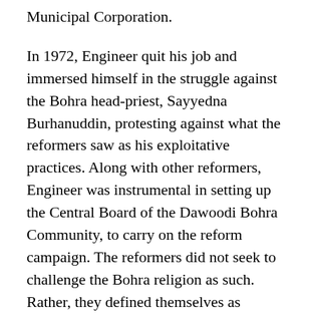Municipal Corporation.
In 1972, Engineer quit his job and immersed himself in the struggle against the Bohra head-priest, Sayyedna Burhanuddin, protesting against what the reformers saw as his exploitative practices. Along with other reformers, Engineer was instrumental in setting up the Central Board of the Dawoodi Bohra Community, to carry on the reform campaign. The reformers did not seek to challenge the Bohra religion as such. Rather, they defined themselves as believing Bohras, and argued that their sole concern was that the Sayyedna and his family should strictly abide by the principles of the Bohra faith and end their tyrannous control over the community, which they